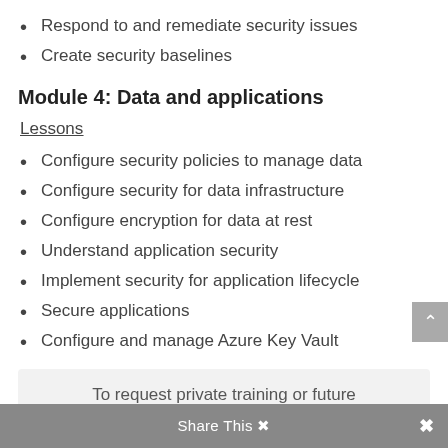Respond to and remediate security issues
Create security baselines
Module 4: Data and applications
Lessons
Configure security policies to manage data
Configure security for data infrastructure
Configure encryption for data at rest
Understand application security
Implement security for application lifecycle
Secure applications
Configure and manage Azure Key Vault
To request private training or future dates, call 610-321-3500 or